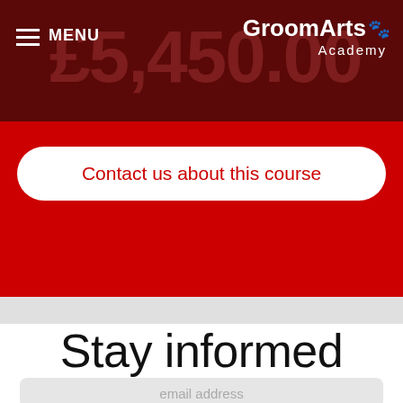GroomArts Academy — MENU navigation header with price £5,450.00
Contact us about this course
Stay informed
email address
Subscribe to newsletter